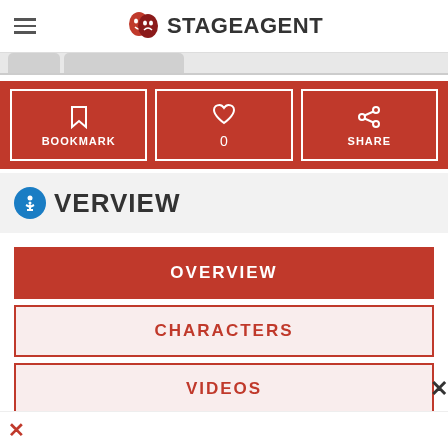STAGEAGENT
[Figure (screenshot): Tab strip with two partial tabs visible]
[Figure (infographic): Red action bar with BOOKMARK, heart/0, and SHARE buttons]
OVERVIEW
OVERVIEW
CHARACTERS
VIDEOS